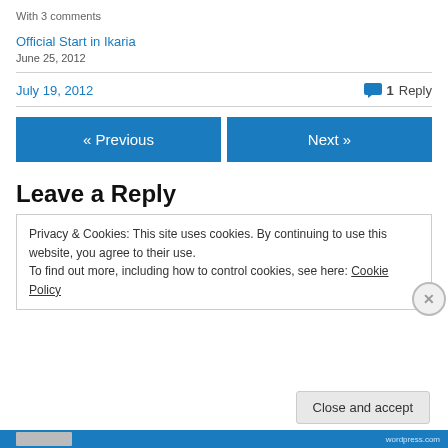With 3 comments
Official Start in Ikaria
June 25, 2012
July 19, 2012
1 Reply
« Previous
Next »
Leave a Reply
Privacy & Cookies: This site uses cookies. By continuing to use this website, you agree to their use.
To find out more, including how to control cookies, see here: Cookie Policy
Close and accept